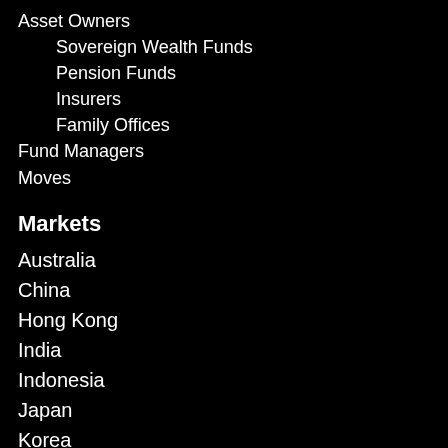Asset Owners
Sovereign Wealth Funds
Pension Funds
Insurers
Family Offices
Fund Managers
Moves
Markets
Australia
China
Hong Kong
India
Indonesia
Japan
Korea
Malaysia
Philippines